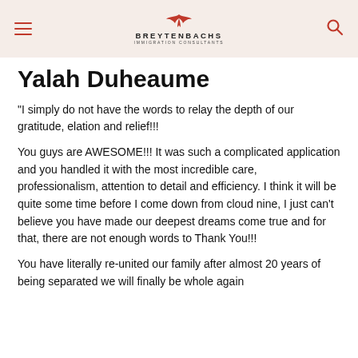BREYTENBACHS IMMIGRATION CONSULTANTS
Yalah Duheaume
“I simply do not have the words to relay the depth of our gratitude, elation and relief!!!
You guys are AWESOME!!! It was such a complicated application and you handled it with the most incredible care, professionalism, attention to detail and efficiency. I think it will be quite some time before I come down from cloud nine, I just can't believe you have made our deepest dreams come true and for that, there are not enough words to Thank You!!!
You have literally re-united our family after almost 20 years of being separated we will finally be whole again